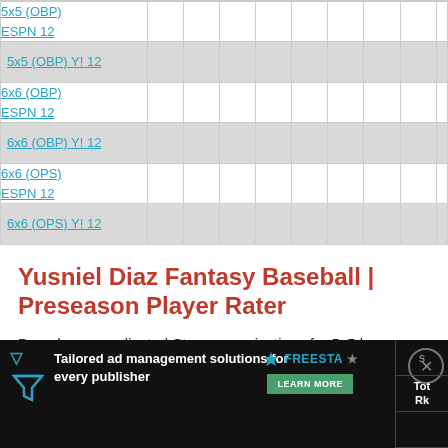| 5x5 (OBP)
ESPN 12 |  |  |  |  |  |  |  |  |  |
| 5x5 (OBP) Y! 12 |  |  |  |  |  |  |  |  |  |
| 6x6 (OBP)
ESPN 12 |  |  |  |  |  |  |  |  |  |
| 6x6 (OBP) Y! 12 |  |  |  |  |  |  |  |  |  |
| 6x6 (OPS)
ESPN 12 |  |  |  |  |  |  |  |  |  |
| 6x6 (OPS) Y! 12 |  |  |  |  |  |  |  |  |  |
Yusniel Diaz Fantasy Baseball | Preseason Player Rater
Based on our adjusted Steamer projections for 5x5 leagues with 67/33 hitter/pitcher split.
[Figure (screenshot): Advertisement banner for Freestar ad management with dark background showing 'Tailored ad management solutions for every publisher' with LEARN MORE button, and partial table column headers showing 's' and 'Tot Rk']